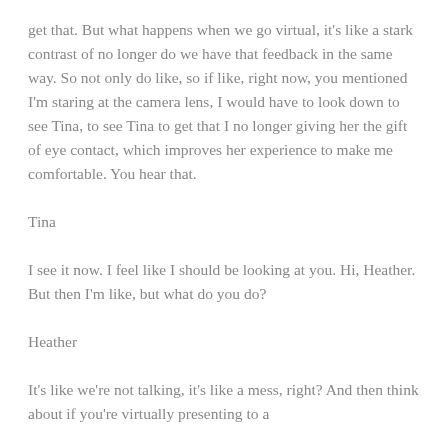get that. But what happens when we go virtual, it's like a stark contrast of no longer do we have that feedback in the same way. So not only do like, so if like, right now, you mentioned I'm staring at the camera lens, I would have to look down to see Tina, to see Tina to get that I no longer giving her the gift of eye contact, which improves her experience to make me comfortable. You hear that.
Tina
I see it now. I feel like I should be looking at you. Hi, Heather. But then I'm like, but what do you do?
Heather
It's like we're not talking, it's like a mess, right? And then think about if you're virtually presenting to a